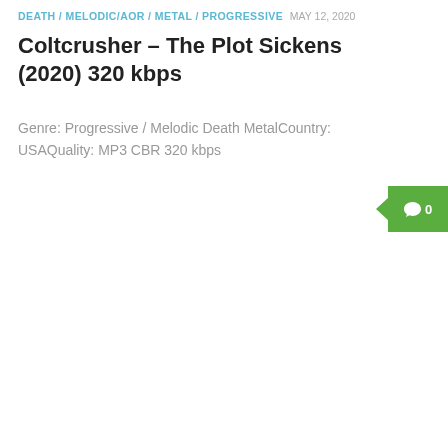DEATH / MELODIC/AOR / METAL / PROGRESSIVE  MAY 12, 2020
Coltcrusher – The Plot Sickens (2020) 320 kbps
Genre: Progressive / Melodic Death MetalCountry: USAQuality: MP3 CBR 320 kbps
[Figure (other): Green comment badge with speech bubble icon and count 0]